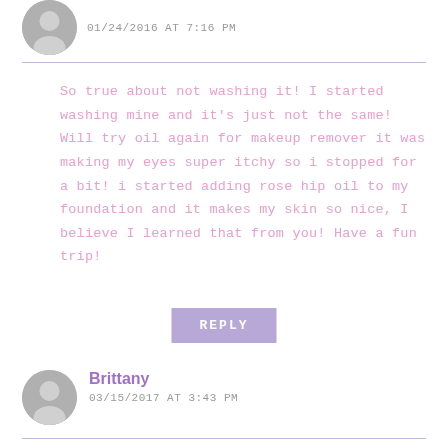01/24/2016 AT 7:16 PM
So true about not washing it! I started washing mine and it's just not the same! Will try oil again for makeup remover it was making my eyes super itchy so i stopped for a bit! i started adding rose hip oil to my foundation and it makes my skin so nice, I believe I learned that from you! Have a fun trip!
REPLY
Brittany
03/15/2017 AT 3:43 PM